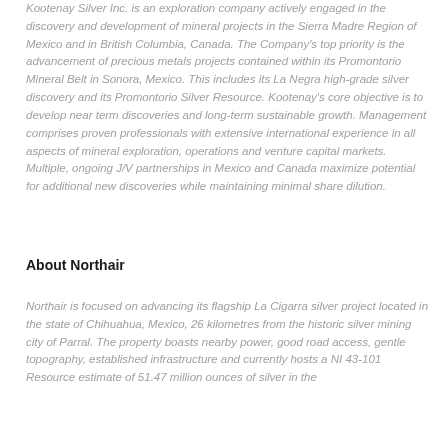Kootenay Silver Inc. is an exploration company actively engaged in the discovery and development of mineral projects in the Sierra Madre Region of Mexico and in British Columbia, Canada. The Company's top priority is the advancement of precious metals projects contained within its Promontorio Mineral Belt in Sonora, Mexico. This includes its La Negra high-grade silver discovery and its Promontorio Silver Resource. Kootenay's core objective is to develop near term discoveries and long-term sustainable growth. Management comprises proven professionals with extensive international experience in all aspects of mineral exploration, operations and venture capital markets. Multiple, ongoing J/V partnerships in Mexico and Canada maximize potential for additional new discoveries while maintaining minimal share dilution.
About Northair
Northair is focused on advancing its flagship La Cigarra silver project located in the state of Chihuahua, Mexico, 26 kilometres from the historic silver mining city of Parral. The property boasts nearby power, good road access, gentle topography, established infrastructure and currently hosts a NI 43-101 Resource estimate of 51.47 million ounces of silver in the